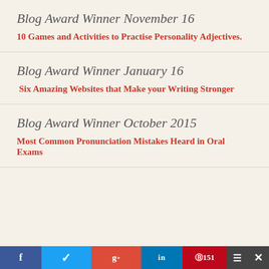Blog Award Winner November 16
10 Games and Activities to Practise Personality Adjectives.
Blog Award Winner January 16
Six Amazing Websites that Make your Writing Stronger
Blog Award Winner October 2015
Most Common Pronunciation Mistakes Heard in Oral Exams